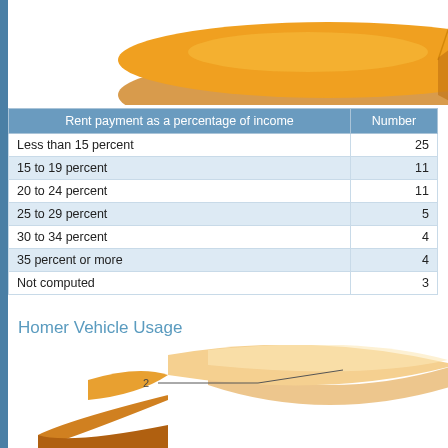[Figure (pie-chart): Top portion of a 3D pie chart (orange/gold colored), partially cropped at top of page]
| Rent payment as a percentage of income | Number |
| --- | --- |
| Less than 15 percent | 25 |
| 15 to 19 percent | 11 |
| 20 to 24 percent | 11 |
| 25 to 29 percent | 5 |
| 30 to 34 percent | 4 |
| 35 percent or more | 4 |
| Not computed | 3 |
Homer Vehicle Usage
[Figure (pie-chart): Bottom portion of a 3D pie chart showing Homer Vehicle Usage, partially cropped. Two slices visible: a large light orange/peach slice and a smaller darker orange slice. Label '2' with a line pointer visible on the left side.]